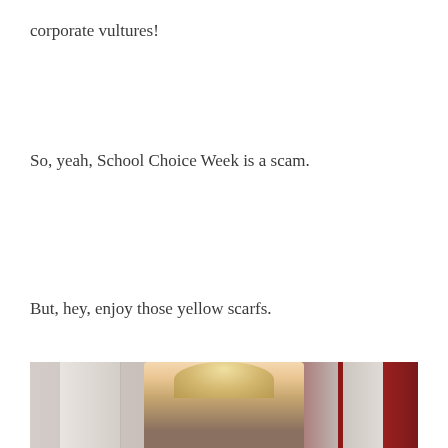corporate vultures!
So, yeah, School Choice Week is a scam.
But, hey, enjoy those yellow scarfs.
[Figure (photo): A blonde woman smiling, photographed in front of white marble columns and a red curtain background, cropped at the top of the frame]